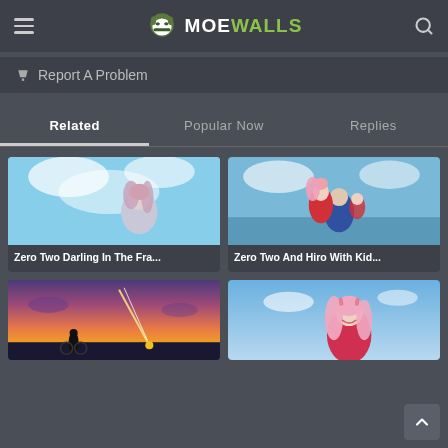MOEWALLS
Report A Problem
Related | Popular Now | Replies
[Figure (illustration): Anime illustration of Zero Two character from Darling in the FranXX, sitting in a sky with clouds, white outfit, long pink hair.]
Zero Two Darling In The Fra...
[Figure (illustration): Anime illustration of Zero Two and Hiro characters with kids at a sunny beach scene.]
Zero Two And Hiro With Kid...
[Figure (illustration): Anime illustration of a boy on a bicycle watching a meteor shower at sunset, dramatic orange and purple sky.]
[Figure (illustration): Anime illustration of Zero Two character with long pink hair in a red outfit against a blue sky.]